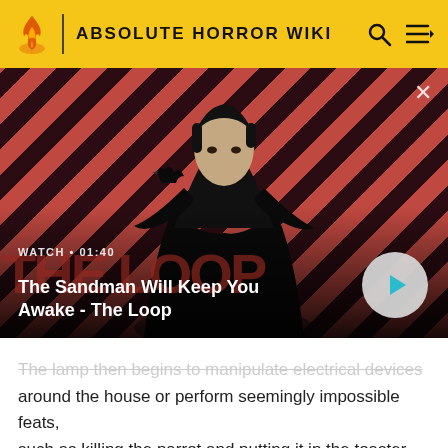ABSOLUTE HORROR WIKI
[Figure (screenshot): Video thumbnail for 'The Sandman Will Keep You Awake - The Loop' showing a dark-cloaked figure with a raven on shoulder against a red/black diagonal striped background. Shows WATCH • 01:40 label and a play button.]
The Sandman Will Keep You Awake - The Loop
The lamp then begins to manipulate electrical devices around the house or perform seemingly impossible feats, such as killing the parrot and putting it in the toaster oven, turning on the kitchen sink's garbage disposal and cutting off the hand of Amanda's boyfriend, and vandalizing Jessica's room.